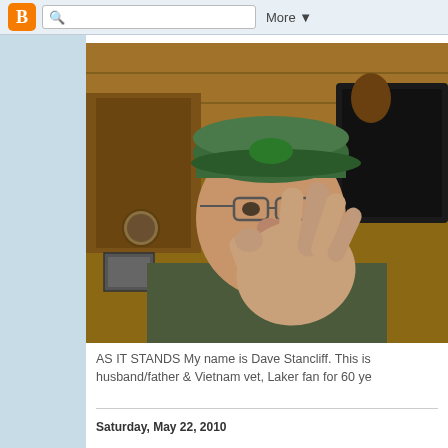B | [search box] | More ▼
[Figure (photo): Man wearing a green cap and glasses, raising his hand toward the camera with fingers spread, in an indoor wood-paneled room setting.]
AS IT STANDS My name is Dave Stancliff. This is husband/father & Vietnam vet, Laker fan for 60 ye
Saturday, May 22, 2010
The end of an era: Spaceships get da